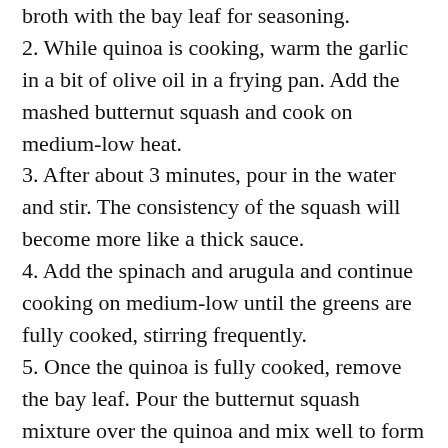broth with the bay leaf for seasoning.
2. While quinoa is cooking, warm the garlic in a bit of olive oil in a frying pan. Add the mashed butternut squash and cook on medium-low heat.
3. After about 3 minutes, pour in the water and stir. The consistency of the squash will become more like a thick sauce.
4. Add the spinach and arugula and continue cooking on medium-low until the greens are fully cooked, stirring frequently.
5. Once the quinoa is fully cooked, remove the bay leaf. Pour the butternut squash mixture over the quinoa and mix well to form a “risotto.”